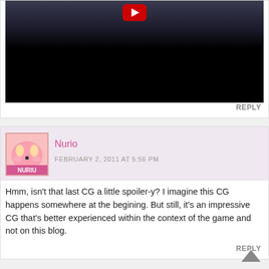[Figure (screenshot): YouTube video thumbnail showing a dark scene with a YouTube play button logo at the top center]
REPLY
[Figure (photo): User avatar showing a pink Kirby-like character with the label NURIU]
Nurio
FEBRUARY 2, 2011 AT 5:56 PM
Hmm, isn't that last CG a little spoiler-y? I imagine this CG happens somewhere at the begining. But still, it's an impressive CG that's better experienced within the context of the game and not on this blog.
REPLY